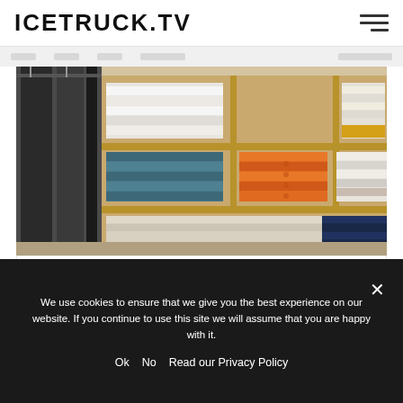ICETRUCK.TV
[Figure (photo): Interior of a clothing store showing stacked folded shirts and garments on wooden shelves — teal, orange, red, white, and patterned fabrics visible. Dark hanging clothes on the left.]
FASHION FRENZY: RETAIL MARKETING TIPS FOR NEW BOUTIQUE OWNERS
2 Years Ago
We use cookies to ensure that we give you the best experience on our website. If you continue to use this site we will assume that you are happy with it.
Ok  No  Read our Privacy Policy